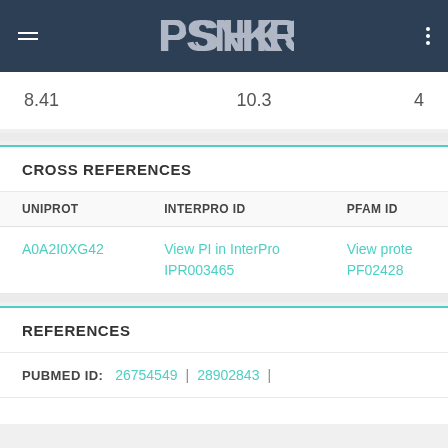PSIKSR
|  |  |  |
| --- | --- | --- |
| 8.41 | 10.3 | 4 |
CROSS REFERENCES
| UNIPROT | INTERPRO ID | PFAM ID |
| --- | --- | --- |
| A0A2I0XG42 | View PI in InterPro IPR003465 | View prote PF02428 |
REFERENCES
PUBMED ID: 26754549 | 28902843 |